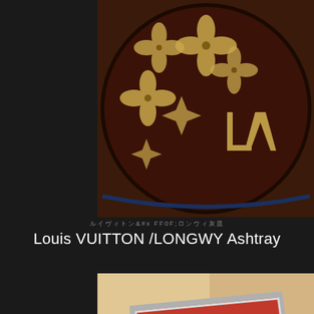[Figure (photo): Close-up photo of a Louis Vuitton monogram ceramic ashtray with dark brown/mahogany base, featuring gold LV monogram logos and four-petal flower motifs inlaid in cream/gold color.]
ルイヴィトン/ロンウィ灰皿
Louis VUITTON /LONGWY Ashtray
[Figure (photo): Close-up photo of a Longwy enameled ashtray with red enamel surface, silver/chrome octagonal rest in the center, and ornate silver floral/scroll decorative element at the bottom corner.]